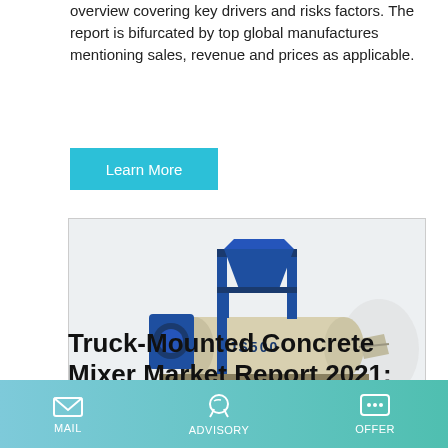overview covering key drivers and risks factors. The report is bifurcated by top global manufactures mentioning sales, revenue and prices as applicable.
Learn More
[Figure (photo): Industrial JS500 twin-shaft concrete mixer machine with blue steel frame and beige drum, mounted on a platform]
Truck-Mounted Concrete Mixer Market Report 2021: Global
Global Truck-Mounted Concrete Mixer Market report provides
MAIL   ADVISORY   OFFER